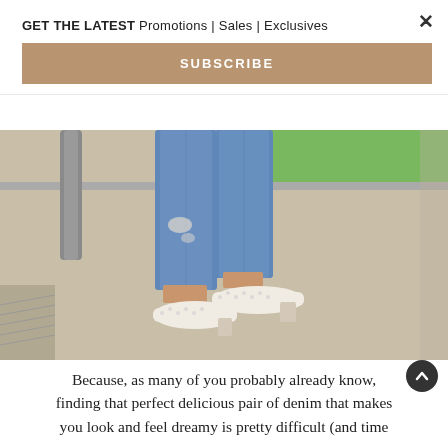GET THE LATEST Promotions | Sales | Exclusives
SUBSCRIBE
[Figure (photo): Close-up photo of a person's legs wearing distressed blue jeans and white block-heel pumps, walking on a sandy/gravel path with a grass lawn and a metal pole in the background.]
Because, as many of you probably already know, finding that perfect delicious pair of denim that makes you look and feel dreamy is pretty difficult (and time